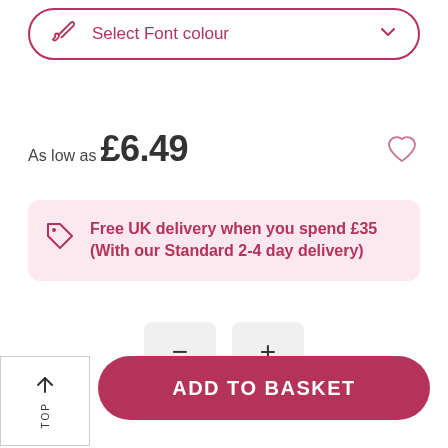Select Font colour
As low as £6.49
Free UK delivery when you spend £35 (With our Standard 2-4 day delivery)
[Figure (other): Quantity minus and plus buttons]
ADD TO BASKET
↑ TOP